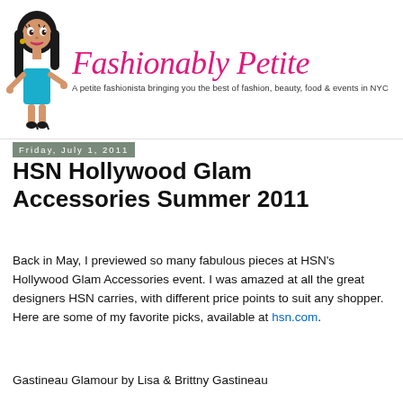[Figure (logo): Fashionably Petite blog logo with cartoon fashionista character on the left and pink cursive script title 'Fashionably Petite' with tagline 'A petite fashionista bringing you the best of fashion, beauty, food & events in NYC']
Friday, July 1, 2011
HSN Hollywood Glam Accessories Summer 2011
Back in May, I previewed so many fabulous pieces at HSN's Hollywood Glam Accessories event. I was amazed at all the great designers HSN carries, with different price points to suit any shopper. Here are some of my favorite picks, available at hsn.com.
Gastineau Glamour by Lisa & Brittny Gastineau